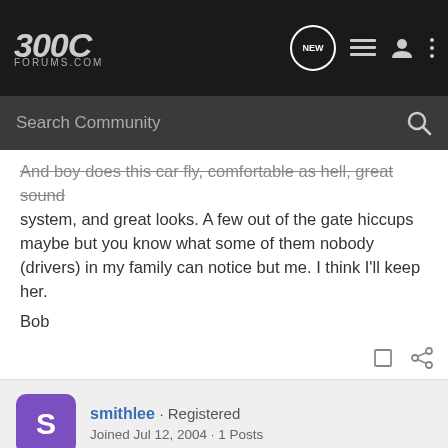[Figure (screenshot): 300C Forums.com logo on dark navbar with navigation icons including NEW chat bubble, list icon, user icon, and more menu]
[Figure (screenshot): Search Community search bar on dark background]
And boy does this car fly, comfortable as hell, great sound system, and great looks. A few out of the gate hiccups maybe but you know what some of them nobody (drivers) in my family can notice but me. I think I'll keep her.

Bob
smithlee · Registered
Joined Jul 12, 2004 · 1 Posts
#12 · Jul 27, 2004
Right Pull